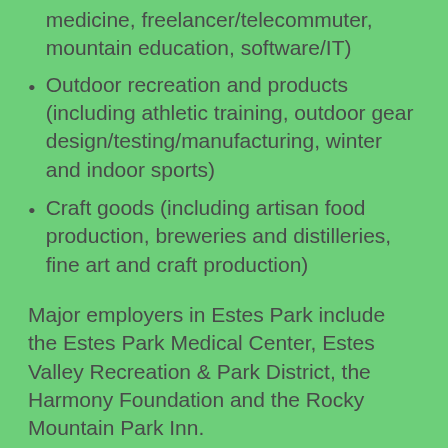medicine, freelancer/telecommuter, mountain education, software/IT)
Outdoor recreation and products (including athletic training, outdoor gear design/testing/manufacturing, winter and indoor sports)
Craft goods (including artisan food production, breweries and distilleries, fine art and craft production)
Major employers in Estes Park include the Estes Park Medical Center, Estes Valley Recreation & Park District, the Harmony Foundation and the Rocky Mountain Park Inn.